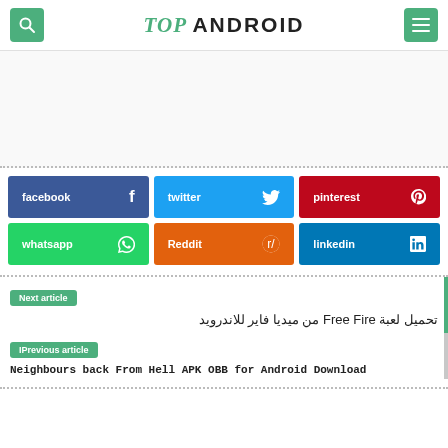TOP ANDROID
[Figure (other): Advertisement banner area (blank/white)]
facebook
twitter
pinterest
whatsapp
Reddit
linkedin
Next article
تحميل لعبة Free Fire من ميديا فاير للاندرويد
IPrevious article
Neighbours back From Hell APK OBB for Android Download